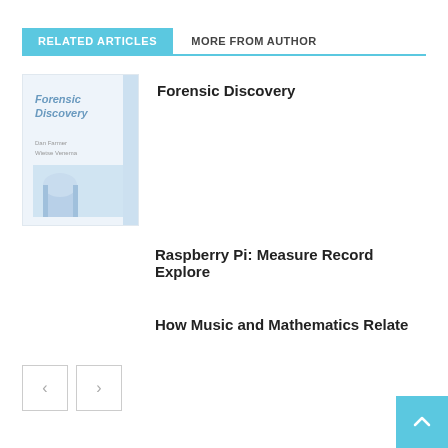RELATED ARTICLES | MORE FROM AUTHOR
[Figure (illustration): Book cover thumbnail for 'Forensic Discovery' showing a white/light blue cover with text and a building image]
Forensic Discovery
Raspberry Pi: Measure Record Explore
How Music and Mathematics Relate